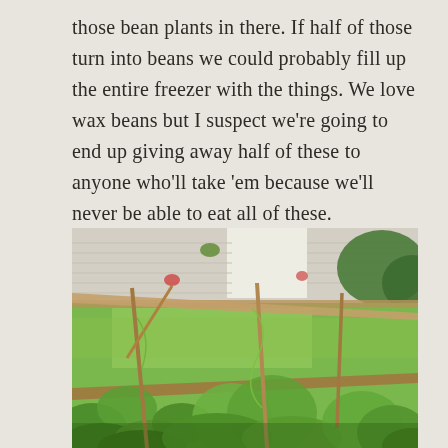those bean plants in there. If half of those turn into beans we could probably fill up the entire freezer with the things. We love wax beans but I suspect we're going to end up giving away half of these to anyone who'll take 'em because we'll never be able to eat all of these.
[Figure (photo): A garden photo showing bean plants with wooden stakes growing in a raised bed, with a well-kept green lawn, another raised bed, and a house with siding and flowerpots visible in the background. Evening golden light.]